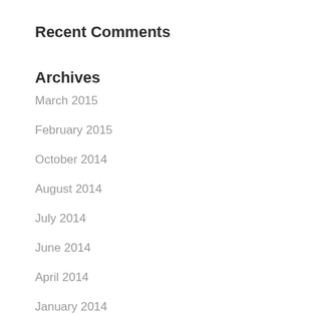Recent Comments
Archives
March 2015
February 2015
October 2014
August 2014
July 2014
June 2014
April 2014
January 2014
November 2013
July 2013
May 2013